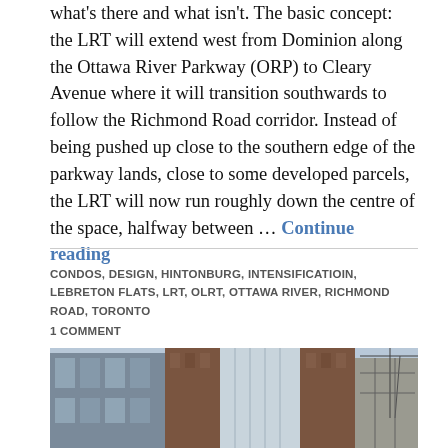what's there and what isn't. The basic concept: the LRT will extend west from Dominion along the Ottawa River Parkway (ORP) to Cleary Avenue where it will transition southwards to follow the Richmond Road corridor. Instead of being pushed up close to the southern edge of the parkway lands, close to some developed parcels, the LRT will now run roughly down the centre of the space, halfway between … Continue reading
CONDOS, DESIGN, HINTONBURG, INTENSIFICATIOIN, LEBRETON FLATS, LRT, OLRT, OTTAWA RIVER, RICHMOND ROAD, TORONTO
1 COMMENT
[Figure (photo): Photograph of urban building facades showing brick and glass construction with construction crane visible on the right]